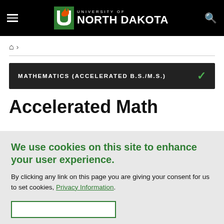University of North Dakota
Home >
MATHEMATICS (ACCELERATED B.S./M.S.)
Accelerated Math
We use cookies on this site to enhance your user experience.
By clicking any link on this page you are giving your consent for us to set cookies, Privacy Information.